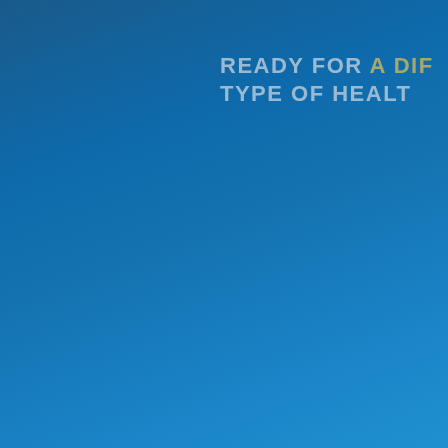READY FOR A DIFFERENT TYPE OF HEALTH